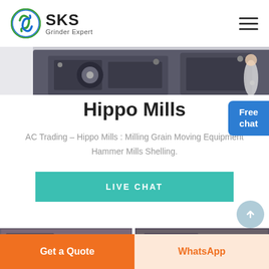[Figure (logo): SKS Grinder Expert logo with circular green/blue emblem and bold SKS text]
[Figure (photo): Close-up photo of a gray industrial grinding/milling machine component]
Hippo Mills
AC Trading – Hippo Mills : Milling Grain Moving Equipment Hammer Mills Shelling.
[Figure (other): Live Chat button (teal/turquoise rectangle with text LIVE CHAT)]
[Figure (other): Free chat bubble button (blue rounded rectangle, top right)]
[Figure (photo): Two small thumbnail images of industrial equipment at bottom of page]
Get a Quote
WhatsApp